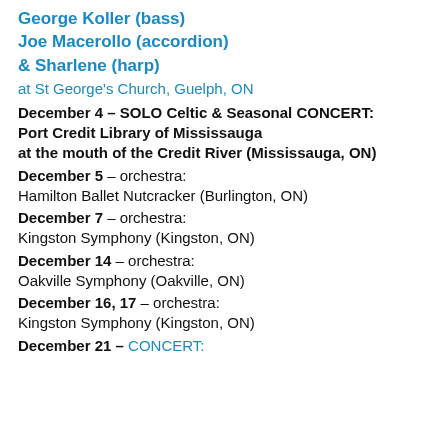George Koller (bass)
Joe Macerollo (accordion)
& Sharlene (harp)
at St George's Church, Guelph, ON
December 4 – SOLO Celtic & Seasonal CONCERT: Port Credit Library of Mississauga at the mouth of the Credit River (Mississauga, ON)
December 5 – orchestra: Hamilton Ballet Nutcracker (Burlington, ON)
December 7 – orchestra: Kingston Symphony (Kingston, ON)
December 14 – orchestra: Oakville Symphony (Oakville, ON)
December 16, 17 – orchestra: Kingston Symphony (Kingston, ON)
December 21 – CONCERT: